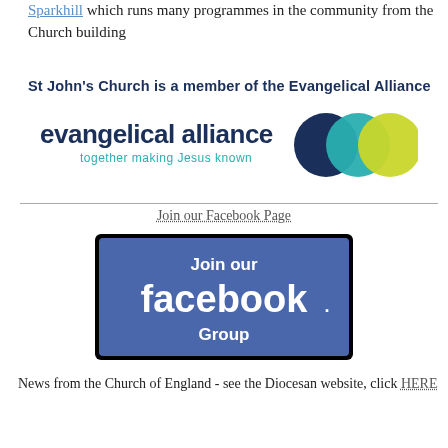Sparkhill which runs many programmes in the community from the Church building
St John's Church is a member of the Evangelical Alliance
[Figure (logo): Evangelical Alliance logo with text 'evangelical alliance' and tagline 'together making Jesus known', accompanied by three overlapping circles in dark navy, teal, and yellow-green]
Join our Facebook Page
[Figure (screenshot): Facebook group join button banner: dark background with text 'Join our facebook Group' in white, Facebook logo style lettering]
News from the Church of England - see the Diocesan website, click HERE